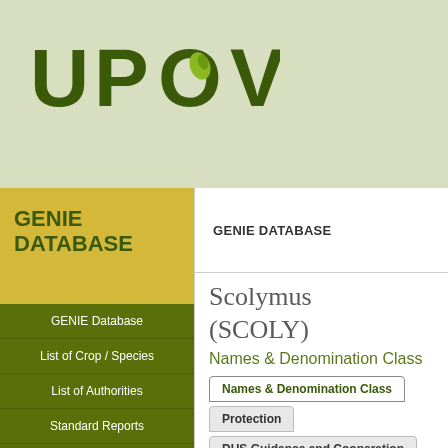[Figure (logo): UPOV logo with green leaf inside the letter O, bold dark green text on light sage green background]
GENIE DATABASE
GENIE DATABASE
GENIE Database
List of Crop / Species
List of Authorities
Standard Reports
UPOV Code System
UPOV Code Reports and
Scolymus (SCOLY)
Names & Denomination Class
Names & Denomination Class
Protection
DUS Guidance and Cooperation
UPOV Principal Botanical Name:
Scolymus
UPO